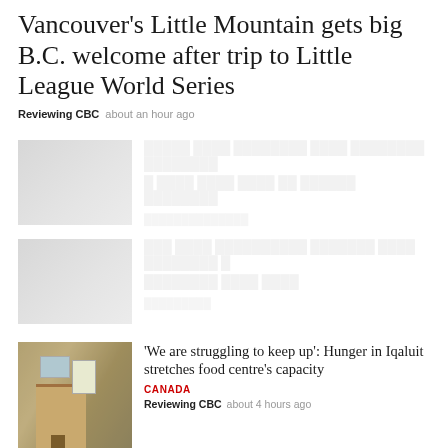Vancouver's Little Mountain gets big B.C. welcome after trip to Little League World Series
Reviewing CBC  about an hour ago
[Figure (photo): Faded thumbnail image of a sports-related scene]
Faded headline text (partially visible, illegible)
[Figure (photo): Faded thumbnail image]
Faded headline text (partially visible, illegible)
[Figure (photo): Photo of a building exterior with a sign, likely a food centre in Iqaluit]
'We are struggling to keep up': Hunger in Iqaluit stretches food centre's capacity
CANADA
Reviewing CBC  about 4 hours ago
[Figure (photo): Partially visible thumbnail at bottom of page]